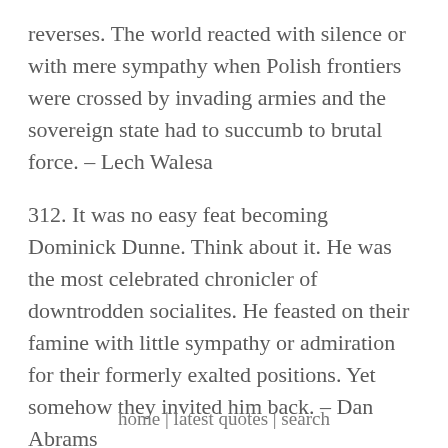reverses. The world reacted with silence or with mere sympathy when Polish frontiers were crossed by invading armies and the sovereign state had to succumb to brutal force. – Lech Walesa
312. It was no easy feat becoming Dominick Dunne. Think about it. He was the most celebrated chronicler of downtrodden socialites. He feasted on their famine with little sympathy or admiration for their formerly exalted positions. Yet somehow they invited him back. – Dan Abrams
313. I have embraced crying mothers who have lost their children because our politicians put
home | latest quotes | search